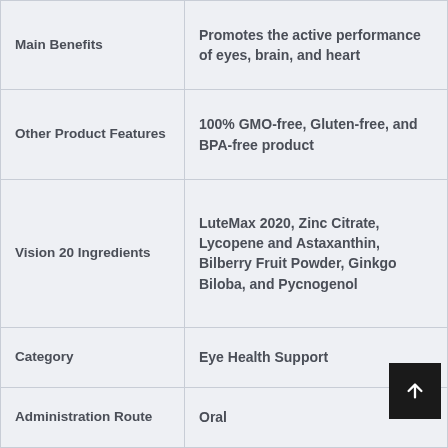| Feature | Value |
| --- | --- |
| Main Benefits | Promotes the active performance of eyes, brain, and heart |
| Other Product Features | 100% GMO-free, Gluten-free, and BPA-free product |
| Vision 20 Ingredients | LuteMax 2020, Zinc Citrate, Lycopene and Astaxanthin, Bilberry Fruit Powder, Ginkgo Biloba, and Pycnogenol |
| Category | Eye Health Support |
| Administration Route | Oral |